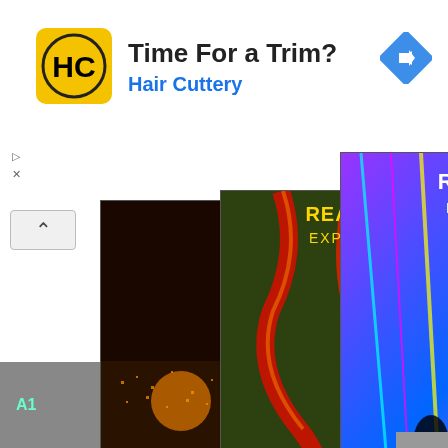[Figure (screenshot): Advertisement banner for Hair Cuttery: 'Time For a Trim?' with yellow HC logo and navigation arrow icon. Below: Three overlapping 'Reading Explorer' textbook covers (Third Edition). Bottom bar shows 'Share This' button and A1 label.]